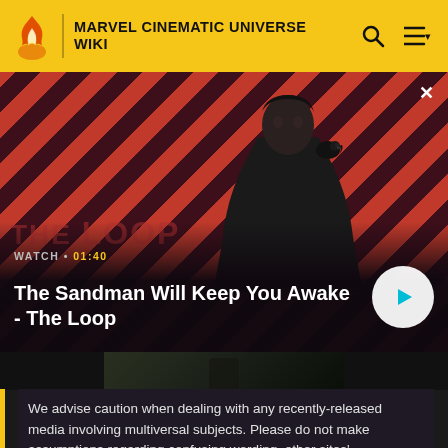MARVEL CINEMATIC UNIVERSE WIKI
[Figure (screenshot): Video thumbnail banner showing a dark-cloaked figure with a crow on shoulder against red diagonal stripe background. Title reads 'The Sandman Will Keep You Awake - The Loop' with WATCH • 01:40 label and a play button.]
The Sandman Will Keep You Awake - The Loop
We advise caution when dealing with any recently-released media involving multiversal subjects. Please do not make assumptions regarding confusing wording, other sites' speculation, and people's headcanon around the internet.